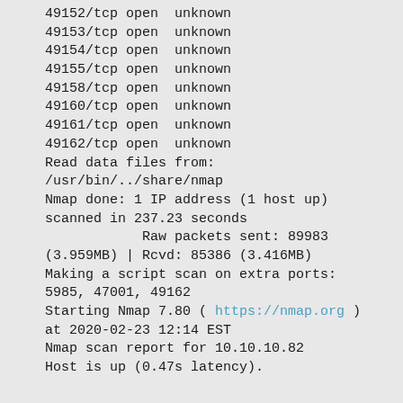49152/tcp open  unknown
49153/tcp open  unknown
49154/tcp open  unknown
49155/tcp open  unknown
49158/tcp open  unknown
49160/tcp open  unknown
49161/tcp open  unknown
49162/tcp open  unknown
Read data files from:
/usr/bin/../share/nmap
Nmap done: 1 IP address (1 host up)
scanned in 237.23 seconds
            Raw packets sent: 89983
(3.959MB) | Rcvd: 85386 (3.416MB)
Making a script scan on extra ports:
5985, 47001, 49162
Starting Nmap 7.80 ( https://nmap.org )
at 2020-02-23 12:14 EST
Nmap scan report for 10.10.10.82
Host is up (0.47s latency).